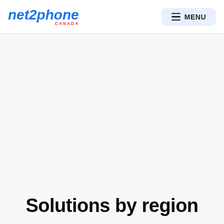net2phone CANADA | MENU
Solutions by region